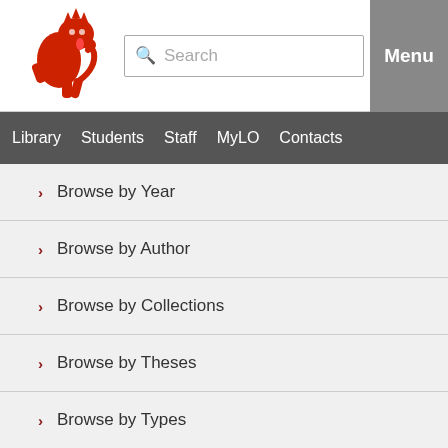[Figure (logo): Red lion rampant university logo]
Search  Menu
Library  Students  Staff  MyLO  Contacts
> Browse by Year
> Browse by Author
> Browse by Collections
> Browse by Theses
> Browse by Types
> Browse by Latest Additions
Help
USER MENU